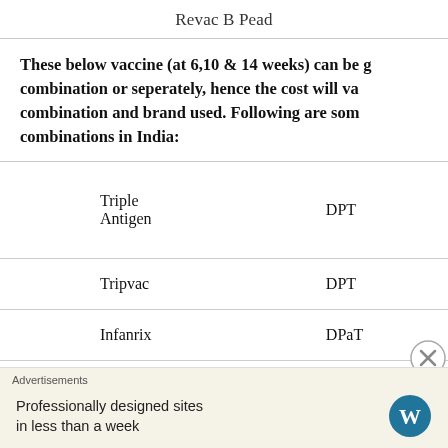Revac B Pead
These below vaccine (at 6,10 & 14 weeks) can be given in combination or seperately, hence the cost will vary based on combination and brand used. Following are some combinations in India:
| Brand | Type |
| --- | --- |
| Triple Antigen | DPT |
| Tripvac | DPT |
| Infanrix | DPaT |
Advertisements
Professionally designed sites in less than a week